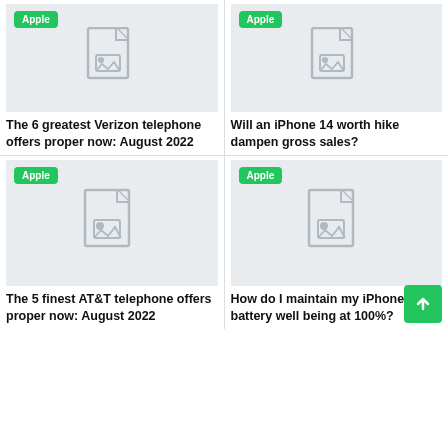[Figure (screenshot): Article card image placeholder with Apple badge - top left]
The 6 greatest Verizon telephone offers proper now: August 2022
[Figure (screenshot): Article card image placeholder with Apple badge - top right]
Will an iPhone 14 worth hike dampen gross sales?
[Figure (screenshot): Article card image placeholder with Apple badge - bottom left]
The 5 finest AT&T telephone offers proper now: August 2022
[Figure (screenshot): Article card image placeholder with Apple badge - bottom right]
How do I maintain my iPhone battery well being at 100%?